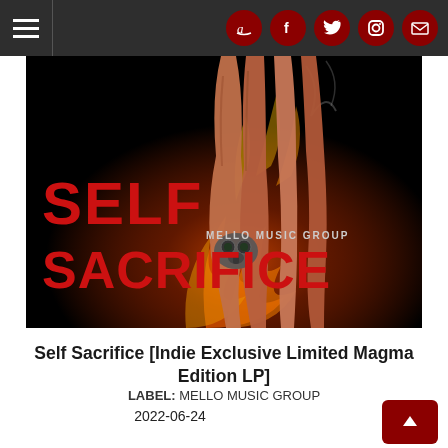Navigation bar with hamburger menu and social icons (Amazon, Facebook, Twitter, Instagram, Email)
[Figure (illustration): Album cover art for 'Self Sacrifice' by Mello Music Group. Black background with illustrated muscular legs/body with flames and stylized text reading 'SELF SACRIFICE' in large red letters on the left, 'MELLO MUSIC GROUP' below it in smaller text.]
Self Sacrifice [Indie Exclusive Limited Magma Edition LP]
LABEL: MELLO MUSIC GROUP
2022-06-24